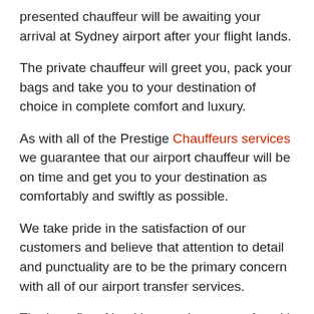presented chauffeur will be awaiting your arrival at Sydney airport after your flight lands.
The private chauffeur will greet you, pack your bags and take you to your destination of choice in complete comfort and luxury.
As with all of the Prestige Chauffeurs services we guarantee that our airport chauffeur will be on time and get you to your destination as comfortably and swiftly as possible.
We take pride in the satisfaction of our customers and believe that attention to detail and punctuality are to be the primary concern with all of our airport transfer services.
The benefits of booking an airport transfer with